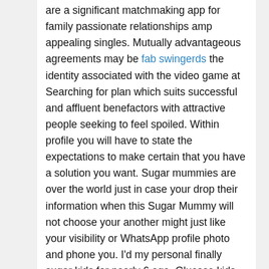are a significant matchmaking app for family passionate relationships amp appealing singles. Mutually advantageous agreements may be fab swingerds the identity associated with the video game at Searching for plan which suits successful and affluent benefactors with attractive people seeking to feel spoiled. Within profile you will have to state the expectations to make certain that you have a solution you want. Sugar mummies are over the world just in case your drop their information when this Sugar Mummy will not choose your another might just like your visibility or WhatsApp profile photo and phone you. I'd my personal finally sugar kids for nearly 6 age. Glucose kids and glucose daddies both utilize the software and website to satisfy and find out each other.
Take pleasure in the minimalistic layout huge icons and straightforward build. Hire a professional photographer to capture your own profile image. Your visibility image is the most essential thing in the looking for plan Australia Profile. It typically takes doing but at the most a day for your visibility nbsp We search for and assist more competent professionals across every subject we manage